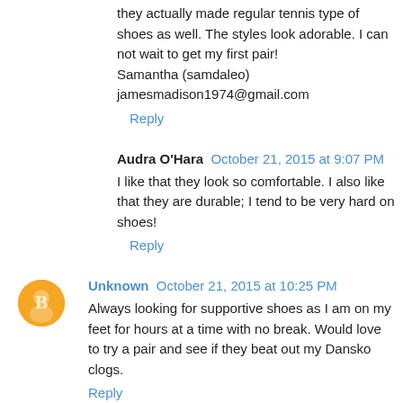they actually made regular tennis type of shoes as well. The styles look adorable. I can not wait to get my first pair! Samantha (samdaleo)
jamesmadison1974@gmail.com
Reply
Audra O'Hara  October 21, 2015 at 9:07 PM
I like that they look so comfortable. I also like that they are durable; I tend to be very hard on shoes!
Reply
Unknown  October 21, 2015 at 10:25 PM
Always looking for supportive shoes as I am on my feet for hours at a time with no break. Would love to try a pair and see if they beat out my Dansko clogs.
Reply
Jonathan Abrous  October 21, 2015 at 10:36 PM